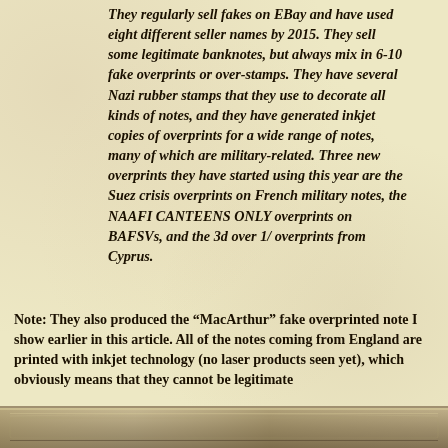They regularly sell fakes on EBay and have used eight different seller names by 2015. They sell some legitimate banknotes, but always mix in 6-10 fake overprints or over-stamps. They have several Nazi rubber stamps that they use to decorate all kinds of notes, and they have generated inkjet copies of overprints for a wide range of notes, many of which are military-related. Three new overprints they have started using this year are the Suez crisis overprints on French military notes, the NAAFI CANTEENS ONLY overprints on BAFSVs, and the 3d over 1/ overprints from Cyprus.
Note: They also produced the “MacArthur” fake overprinted note I show earlier in this article. All of the notes coming from England are printed with inkjet technology (no laser products seen yet), which obviously means that they cannot be legitimate
[Figure (photo): Bottom strip showing edge of a banknote or document image with decorative border]